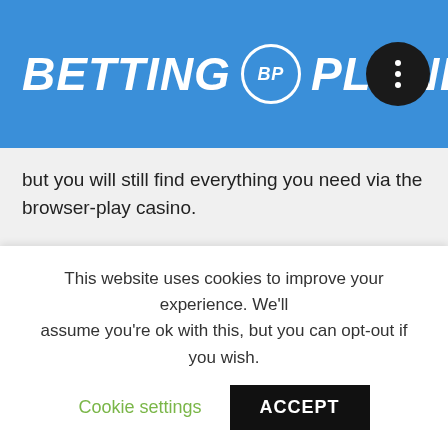BETTING BP PLANET
but you will still find everything you need via the browser-play casino.
All Slots Casino mobile slots
All Slots Casino also offers a mobile version of their site, which is compatible with Android, Apple, and Windows smartphones and tablets.
You will find more than 50 slots here, including the latest
This website uses cookies to improve your experience. We'll assume you're ok with this, but you can opt-out if you wish.
Cookie settings   ACCEPT